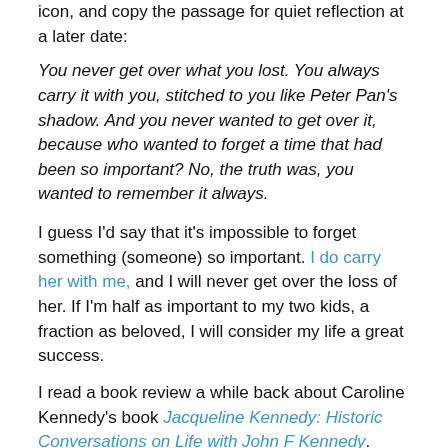icon, and copy the passage for quiet reflection at a later date:
You never get over what you lost. You always carry it with you, stitched to you like Peter Pan's shadow. And you never wanted to get over it, because who wanted to forget a time that had been so important? No, the truth was, you wanted to remember it always.
I guess I'd say that it's impossible to forget something (someone) so important. I do carry her with me, and I will never get over the loss of her. If I'm half as important to my two kids, a fraction as beloved, I will consider my life a great success.
I read a book review a while back about Caroline Kennedy's book Jacqueline Kennedy: Historic Conversations on Life with John F Kennedy. (Whew, long